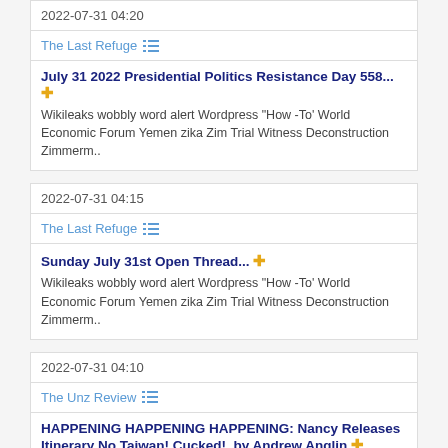2022-07-31 04:20
The Last Refuge
July 31 2022 Presidential Politics Resistance Day 558... + Wikileaks wobbly word alert Wordpress 'How-To' World Economic Forum Yemen zika Zim Trial Witness Deconstruction Zimmerm..
2022-07-31 04:15
The Last Refuge
Sunday July 31st Open Thread... + Wikileaks wobbly word alert Wordpress 'How-To' World Economic Forum Yemen zika Zim Trial Witness Deconstruction Zimmerm..
2022-07-31 04:10
The Unz Review
HAPPENING HAPPENING HAPPENING: Nancy Releases Itinerary No Taiwan! Cucked!, by Andrew Anglin +